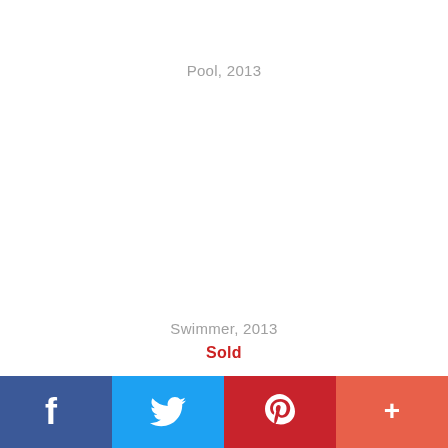Pool, 2013
Swimmer, 2013
Sold
[Figure (other): Social sharing bar with Facebook, Twitter, Pinterest, and More (+) buttons]